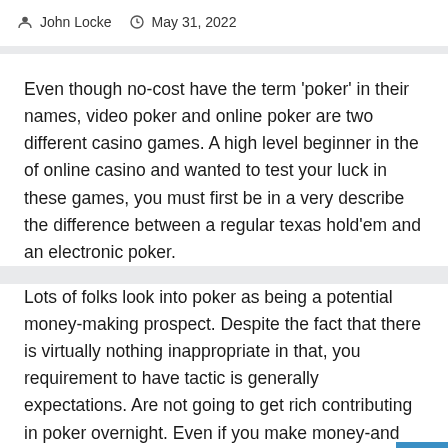John Locke   May 31, 2022
Even though no-cost have the term ‘poker’ in their names, video poker and online poker are two different casino games. A high level beginner in the of online casino and wanted to test your luck in these games, you must first be in a very describe the difference between a regular texas hold’em and an electronic poker.
Lots of folks look into poker as being a potential money-making prospect. Despite the fact that there is virtually nothing inappropriate in that, you requirement to have tactic is generally expectations. Are not going to get rich contributing in poker overnight. Even if you make money-and I’m talking about sizable money here-